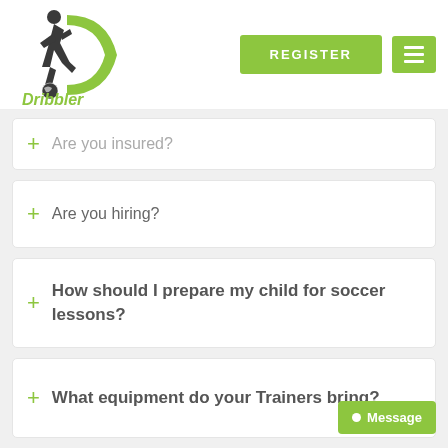[Figure (logo): Dribbler soccer training logo with player silhouette and green D letter]
+ Are you insured?
+ Are you hiring?
+ How should I prepare my child for soccer lessons?
+ What equipment do your Trainers bring?